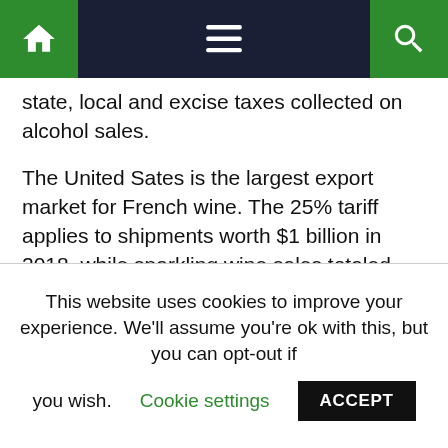[Navigation bar with home, menu, and search icons]
state, local and excise taxes collected on alcohol sales.
The United Sates is the largest export market for French wine. The 25% tariff applies to shipments worth $1 billion in 2018, while sparkling wine sales totaled $720 million, witnesses told the hearing.
The tariffs would also hit imports of enamel cast iron cookware manufactured in France by Le Creuset, which employs over 900 people in the United States, a company official, Faye Gooding, told the hearing.
This website uses cookies to improve your experience. We'll assume you're ok with this, but you can opt-out if you wish. Cookie settings ACCEPT